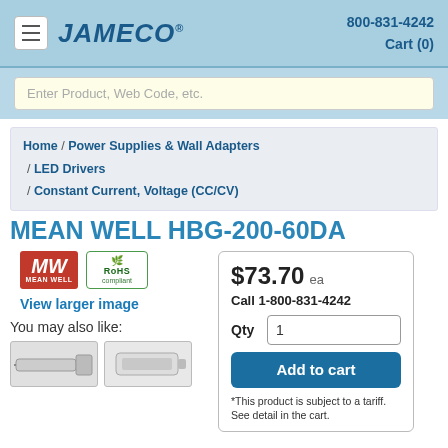JAMECO® 800-831-4242 Cart (0)
Enter Product, Web Code, etc.
Home / Power Supplies & Wall Adapters / LED Drivers / Constant Current, Voltage (CC/CV)
MEAN WELL HBG-200-60DA
[Figure (logo): MEAN WELL brand logo (red background with MW letters) and RoHS Compliant badge (green leaf)]
View larger image
You may also like:
$73.70 ea
Call 1-800-831-4242
Qty 1
Add to cart
*This product is subject to a tariff. See detail in the cart.